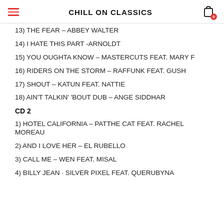CHILL ON CLASSICS
13) THE FEAR – ABBEY WALTER
14) I HATE THIS PART -ARNOLDT
15) YOU OUGHTA KNOW – MASTERCUTS FEAT. MARY F
16) RIDERS ON THE STORM – RAFFUNK FEAT. GUSH
17) SHOUT – KATUN FEAT. NATTIE
18) AIN'T TALKIN' 'BOUT DUB – ANGE SIDDHAR
CD 2
1) HOTEL CALIFORNIA – PATTHE CAT FEAT. RACHEL MOREAU
2) AND I LOVE HER – EL RUBELLO
3) CALL ME – WEN FEAT. MISAL
4) BILLY JEAN · SILVER PIXEL FEAT. QUERUBYNA